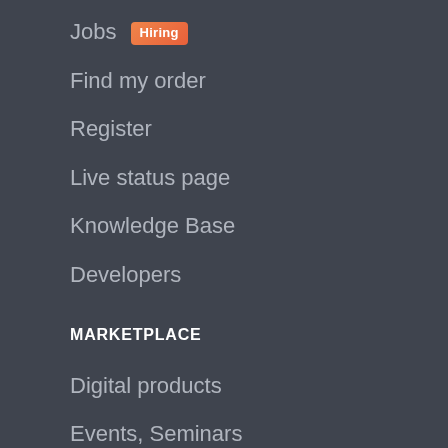Jobs Hiring
Find my order
Register
Live status page
Knowledge Base
Developers
MARKETPLACE
Digital products
Events, Seminars
Services
Physical Products
CONTACT US